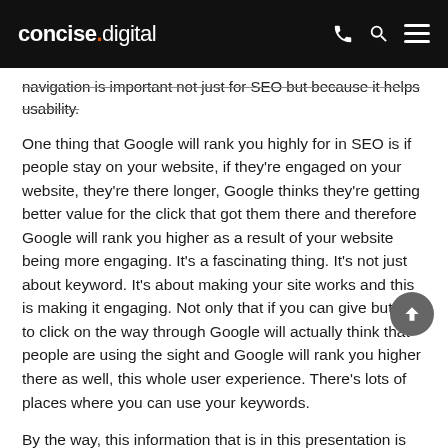concise.digital
navigation is important not just for SEO but because it helps usability.
One thing that Google will rank you highly for in SEO is if people stay on your website, if they’re engaged on your website, they’re there longer, Google thinks they’re getting better value for the click that got them there and therefore Google will rank you higher as a result of your website being more engaging. It’s a fascinating thing. It’s not just about keyword. It’s about making your site works and this is making it engaging. Not only that if you can give buttons to click on the way through Google will actually think that people are using the sight and Google will rank you higher there as well, this whole user experience. There’s lots of places where you can use your keywords.
By the way, this information that is in this presentation is available as webinar handout note for you. Afterwards you